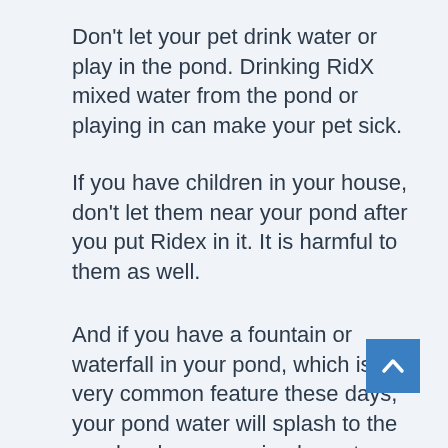Don't let your pet drink water or play in the pond. Drinking RidX mixed water from the pond or playing in can make your pet sick.
If you have children in your house, don't let them near your pond after you put Ridex in it. It is harmful to them as well.
And if you have a fountain or waterfall in your pond, which is a very common feature these days, your pond water will splash to the nearby places causing harm to plants or other animals they get into contact with it.
[Figure (other): Blue scroll-to-top button with upward arrow chevron]
...